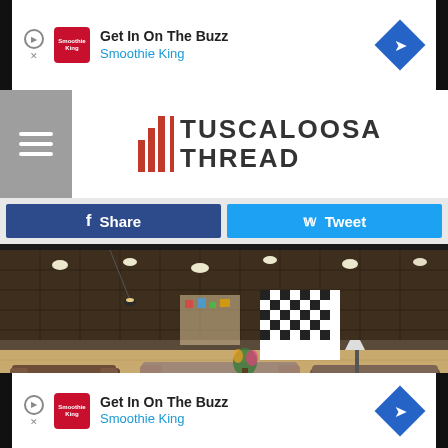[Figure (screenshot): Top advertisement banner for Smoothie King with text 'Get In On The Buzz' and 'Smoothie King']
[Figure (logo): Tuscaloosa Thread website logo with red vertical bars and bold text]
[Figure (screenshot): Facebook Share and Twitter Tweet social media buttons]
[Figure (photo): Interior photo of a large furniture showroom with sofas, chairs, and display items under a grid ceiling with lights]
[Figure (screenshot): Bottom advertisement banner for Smoothie King with text 'Get In On The Buzz' and 'Smoothie King']